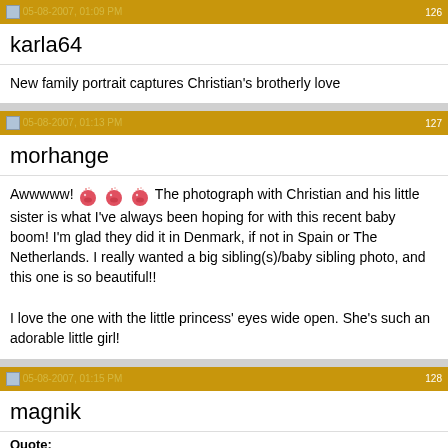05-08-2007, 01:09 PM | 126
karla64
New family portrait captures Christian's brotherly love
05-08-2007, 01:13 PM | 127
morhange
Awwwww! [emoji] [emoji] [emoji] The photograph with Christian and his little sister is what I've always been hoping for with this recent baby boom! I'm glad they did it in Denmark, if not in Spain or The Netherlands. I really wanted a big sibling(s)/baby sibling photo, and this one is so beautiful!!

I love the one with the little princess' eyes wide open. She's such an adorable little girl!
05-08-2007, 01:15 PM | 128
magnik
Quote: